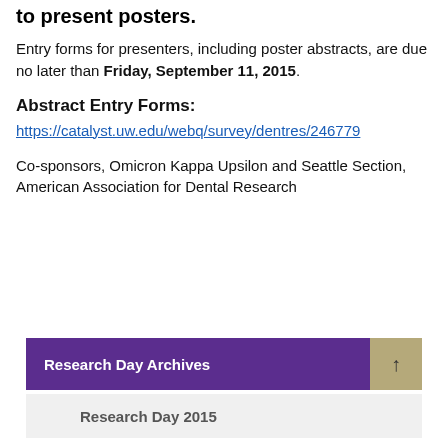to present posters.
Entry forms for presenters, including poster abstracts, are due no later than Friday, September 11, 2015.
Abstract Entry Forms:
https://catalyst.uw.edu/webq/survey/dentres/246779
Co-sponsors, Omicron Kappa Upsilon and Seattle Section, American Association for Dental Research
Research Day Archives
Research Day 2015